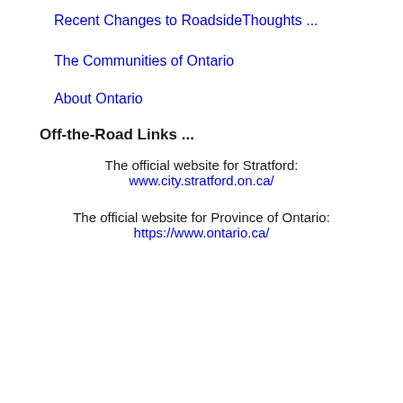Recent Changes to RoadsideThoughts ...
The Communities of Ontario
About Ontario
Off-the-Road Links ...
The official website for Stratford:
www.city.stratford.on.ca/
The official website for Province of Ontario:
https://www.ontario.ca/